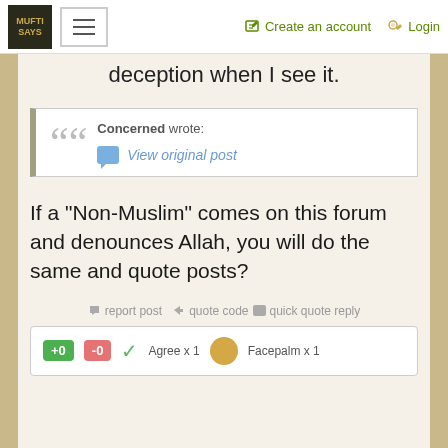MUFTI SAYS | ≡ | Create an account | Login
deception when I see it.
Concerned wrote: View original post
If a "Non-Muslim" comes on this forum and denounces Allah, you will do the same and quote posts?
report post  quote code  quick quote reply
+0  -0  Agree x 1  Facepalm x 1